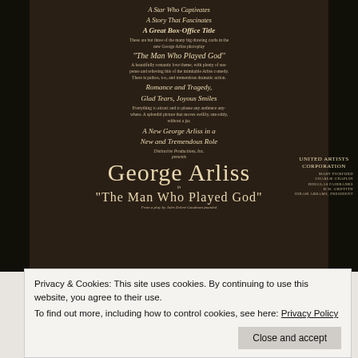[Figure (photo): Vintage black and white movie advertisement/poster for 'The Man Who Played God' starring George Arliss. Dark background with text overlay. Shows promotional copy and United Artists Corporation branding. Left and right sides show partial figures in shadow.]
Privacy & Cookies: This site uses cookies. By continuing to use this website, you agree to their use.
To find out more, including how to control cookies, see here: Privacy Policy